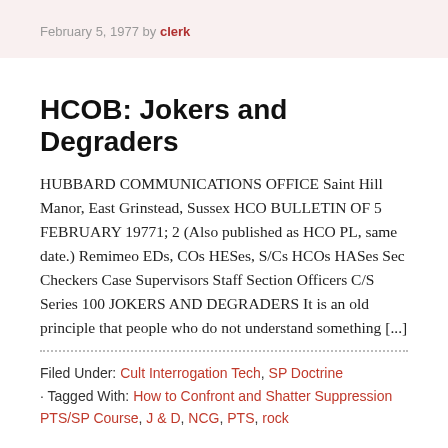February 5, 1977 by clerk
HCOB: Jokers and Degraders
HUBBARD COMMUNICATIONS OFFICE Saint Hill Manor, East Grinstead, Sussex HCO BULLETIN OF 5 FEBRUARY 19771; 2 (Also published as HCO PL, same date.) Remimeo EDs, COs HESes, S/Cs HCOs HASes Sec Checkers Case Supervisors Staff Section Officers C/S Series 100 JOKERS AND DEGRADERS It is an old principle that people who do not understand something [...]
Filed Under: Cult Interrogation Tech, SP Doctrine · Tagged With: How to Confront and Shatter Suppression PTS/SP Course, J & D, NCG, PTS, rock